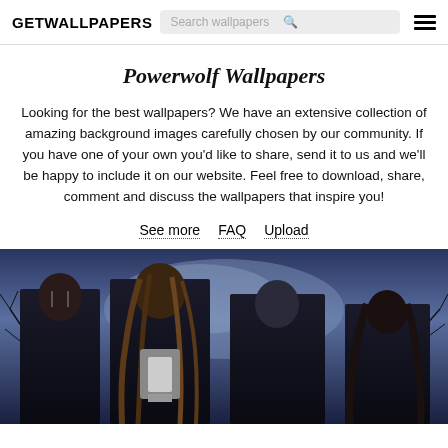GETWALLPAPERS
Powerwolf Wallpapers
Looking for the best wallpapers? We have an extensive collection of amazing background images carefully chosen by our community. If you have one of your own you'd like to share, send it to us and we'll be happy to include it on our website. Feel free to download, share, comment and discuss the wallpapers that inspire you!
See more
FAQ
Upload
[Figure (photo): Four members of the metal band Powerwolf posed against a dark, moody background with bare trees and a blue-tinted sky.]